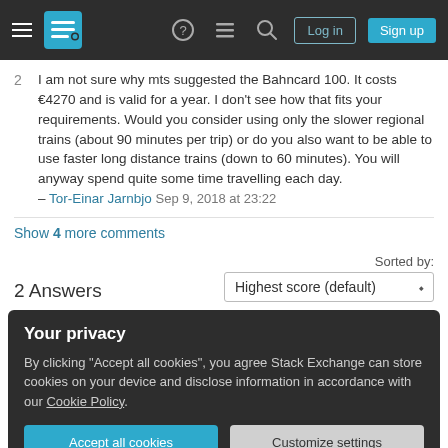Stack Exchange navigation bar with hamburger menu, logo, help, chat, search icons, Log in and Sign up buttons
I am not sure why mts suggested the Bahncard 100. It costs €4270 and is valid for a year. I don't see how that fits your requirements. Would you consider using only the slower regional trains (about 90 minutes per trip) or do you also want to be able to use faster long distance trains (down to 60 minutes). You will anyway spend quite some time travelling each day. – Tor-Einar Jarnbjo Sep 9, 2018 at 23:22
Show 4 more comments
2 Answers
Sorted by: Highest score (default)
Your privacy
By clicking "Accept all cookies", you agree Stack Exchange can store cookies on your device and disclose information in accordance with our Cookie Policy.
Accept all cookies  Customize settings
you wish to use regional trains only or IC trains as